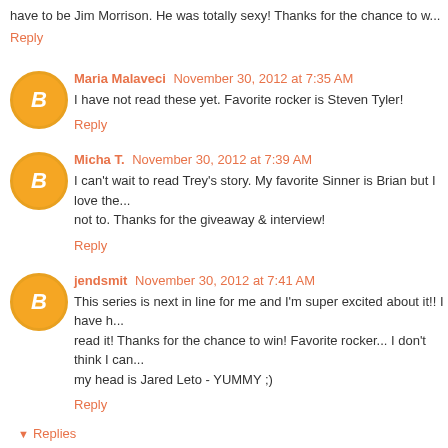have to be Jim Morrison. He was totally sexy! Thanks for the chance to w...
Reply
Maria Malaveci  November 30, 2012 at 7:35 AM
I have not read these yet. Favorite rocker is Steven Tyler!
Reply
Micha T.  November 30, 2012 at 7:39 AM
I can't wait to read Trey's story. My favorite Sinner is Brian but I love the... not to. Thanks for the giveaway & interview!
Reply
jendsmit  November 30, 2012 at 7:41 AM
This series is next in line for me and I'm super excited about it!! I have h... read it! Thanks for the chance to win! Favorite rocker... I don't think I can... my head is Jared Leto - YUMMY ;)
Reply
Replies